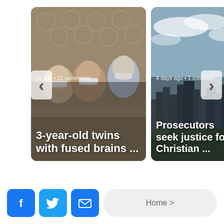[Figure (screenshot): News carousel card 1: Photo of people wearing masks in hospital setting. Text overlay: 'ys ago • 21 comments' and '3-year-old twins with fused brains ...']
[Figure (screenshot): News carousel card 2: Photo of city skyline with cloudy sky. Text overlay: '4 days ago • 1 commen' and 'Prosecutors seek justice for Christian ...']
[Figure (other): Social share buttons: Facebook (f icon), Twitter (bird icon), Email (envelope icon), and Home > navigation button]